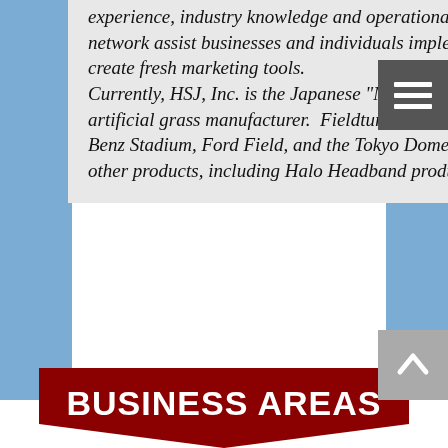experience, industry knowledge and operational skills for sports businesses, HSJ, Inc. and its network assist businesses and individuals implement new programs, develop strategic planning and create fresh marketing tools.
Currently, HSJ, Inc. is the Japanese "Master Distributor" for Fieldturf Tarkett Incorporated, an artificial grass manufacturer. Fieldturf is used for sports stadiums like Gillet Stadium, Mercedes-Benz Stadium, Ford Field, and the Tokyo Dome. In addition, HSJ, Inc. exports to Japan, several other products, including Halo Headband products.
BUSINESS AREAS